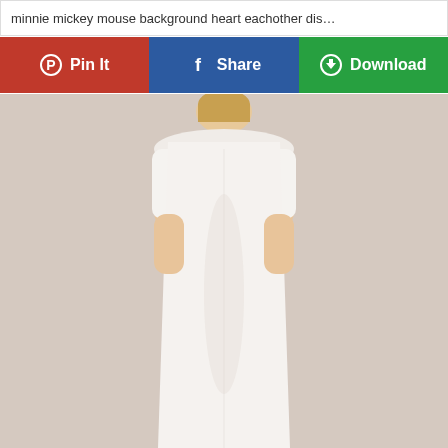minnie mickey mouse background heart eachother dis…
[Figure (screenshot): Three social sharing buttons: Pin It (red, Pinterest), Share (blue, Facebook), Download (green)]
[Figure (photo): Back view of a woman wearing a white short-sleeve dress, standing against a light beige background]